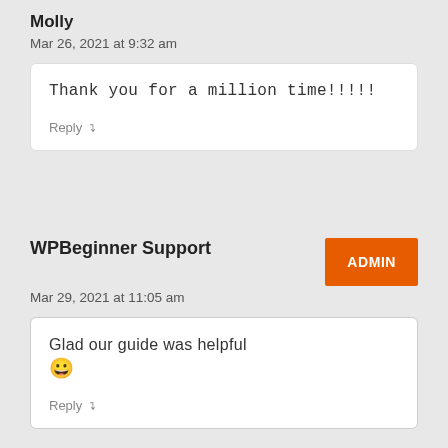Molly
Mar 26, 2021 at 9:32 am
Thank you for a million time!!!!!
Reply
WPBeginner Support
ADMIN
Mar 29, 2021 at 11:05 am
Glad our guide was helpful 😀
Reply